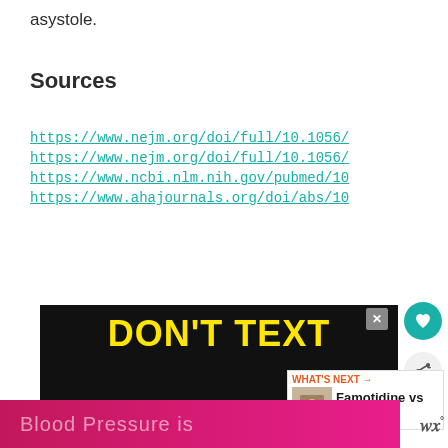asystole.
Sources
https://www.nejm.org/doi/full/10.1056/
https://www.nejm.org/doi/full/10.1056/
https://www.ncbi.nlm.nih.gov/pubmed/10
https://www.ahajournals.org/doi/abs/10
[Figure (screenshot): Advertisement image showing 'DON'T TEXT AND' in bold yellow and teal letters on a black background, with a close button (X) in the top right corner.]
[Figure (screenshot): What's Next panel showing 'Famotidine vs Ranitidine' with a small thumbnail image.]
[Figure (screenshot): Bottom pink/magenta banner with text 'Blood Pressure is...']